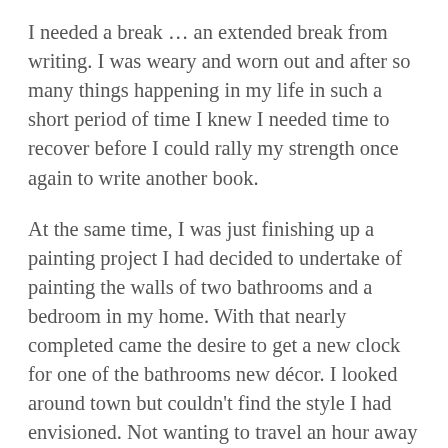I needed a break … an extended break from writing. I was weary and worn out and after so many things happening in my life in such a short period of time I knew I needed time to recover before I could rally my strength once again to write another book.
At the same time, I was just finishing up a painting project I had decided to undertake of painting the walls of two bathrooms and a bedroom in my home. With that nearly completed came the desire to get a new clock for one of the bathrooms new décor. I looked around town but couldn't find the style I had envisioned. Not wanting to travel an hour away or order something online I decided to check the local thrift shop hoping maybe they had something I could use.
Tired, I approached the front door of the thrift